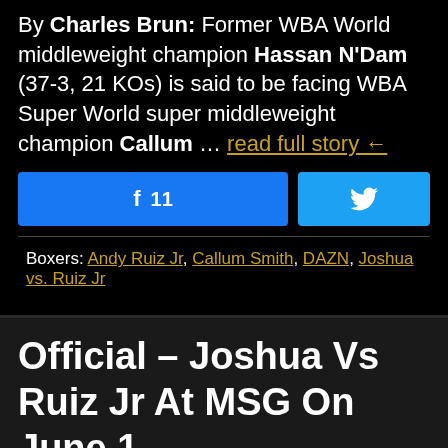By Charles Brun: Former WBA World middleweight champion Hassan N'Dam (37-3, 21 KOs) is said to be facing WBA Super World super middleweight champion Callum … read full story ←
[Figure (other): Facebook share button showing count of 11 and Twitter share button]
Boxers: Andy Ruiz Jr, Callum Smith, DAZN, Joshua vs. Ruiz Jr
Official – Joshua Vs Ruiz Jr At MSG On June 1
May 1, 2019  |  Comments are off for this post